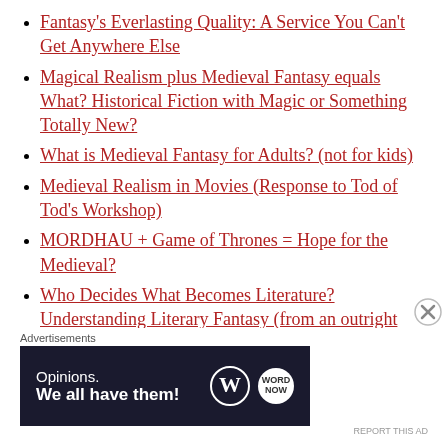Fantasy's Everlasting Quality: A Service You Can't Get Anywhere Else
Magical Realism plus Medieval Fantasy equals What? Historical Fiction with Magic or Something Totally New?
What is Medieval Fantasy for Adults? (not for kids)
Medieval Realism in Movies (Response to Tod of Tod's Workshop)
MORDHAU + Game of Thrones = Hope for the Medieval?
Who Decides What Becomes Literature? Understanding Literary Fantasy (from an outright amateur's perspective)
[truncated link]
Advertisements
[Figure (other): WordPress advertisement banner reading 'Opinions. We all have them!' with WordPress logo and WN logo on dark navy background]